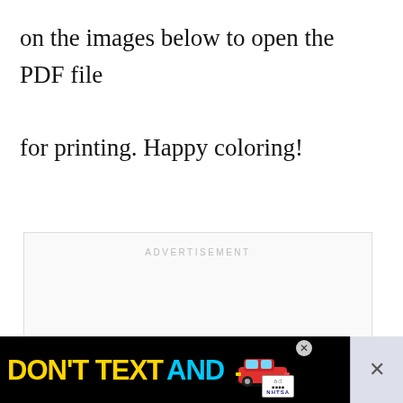on the images below to open the PDF file for printing. Happy coloring!
[Figure (other): Advertisement placeholder box with 'ADVERTISEMENT' label and pagination dots]
[Figure (other): Purple heart/like button showing count 153 and share button]
[Figure (other): What's Next panel: Fun Ways to Celebrate Pi... with red image thumbnail]
[Figure (other): Bottom advertisement banner: DON'T TEXT AND [car image] with NHTSA branding]